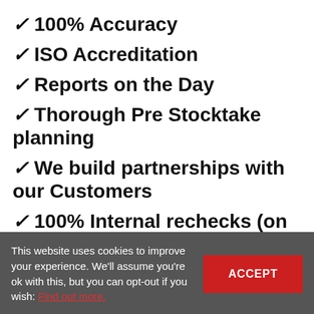✓ 100% Accuracy
✓ ISO Accreditation
✓ Reports on the Day
✓ Thorough Pre Stocktake planning
✓ We build partnerships with our Customers
✓ 100% Internal rechecks (on High-Value Items)
This website uses cookies to improve your experience. We'll assume you're ok with this, but you can opt-out if you wish: Find out more.